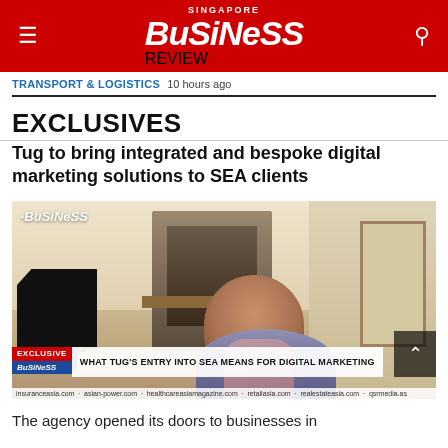Singapore Business Review
TRANSPORT & LOGISTICS  10 hours ago
EXCLUSIVES
Tug to bring integrated and bespoke digital marketing solutions to SEA clients
[Figure (photo): Video still of a woman smiling, seated in a living room with a stone fireplace and grand piano in the background. Lower-third banner reads: EXCLUSIVE BUSINESS | WHAT TUG'S ENTRY INTO SEA MEANS FOR DIGITAL MARKETING. A ticker strip runs along the bottom. Singapore Business Review watermark in top-left.]
The agency opened its doors to businesses in